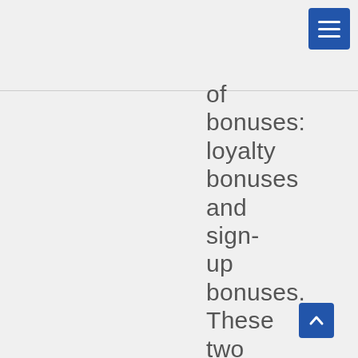[Figure (other): Blue hamburger menu button in top-right corner]
of bonuses: loyalty bonuses and sign-up bonuses. These two bonuses are most effective at attracting now
[Figure (other): Blue scroll-to-top button with upward chevron in bottom-right area]